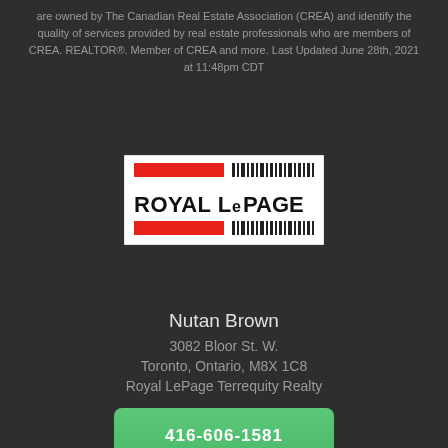are owned by The Canadian Real Estate Association (CREA) and identify the quality of services provided by real estate professionals who are members of CREA. REALTOR®. Member of CREA and more. Last Updated June 28th, 2021 at 11:48pm CDT
[Figure (logo): Royal LePage logo with red bar and barcode motif on white background]
Nutan Brown
3082 Bloor St. W.
Toronto, Ontario, M8X 1C8
Royal LePage Terrequity Realty
416-606-1581
nutan@royallepage.ca